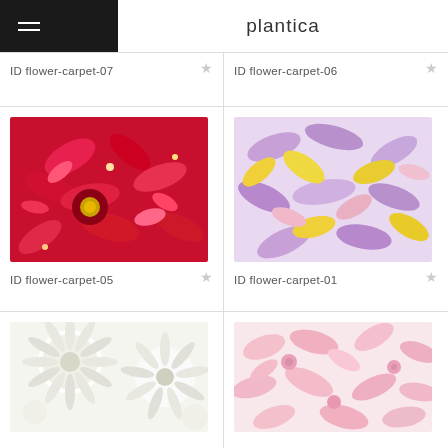plantica
ID flower-carpet-07
ID flower-carpet-06
[Figure (photo): Dense arrangement of red and pink flowers including alstroemeria and chrysanthemums with yellow centers, labeled flower-carpet-05]
ID flower-carpet-05
[Figure (photo): Dense arrangement of purple, yellow, and pink flower petals, labeled flower-carpet-01]
ID flower-carpet-01
[Figure (photo): White chrysanthemum flowers densely packed, bottom row partially visible]
[Figure (photo): Pink flower petals densely packed, bottom row partially visible]